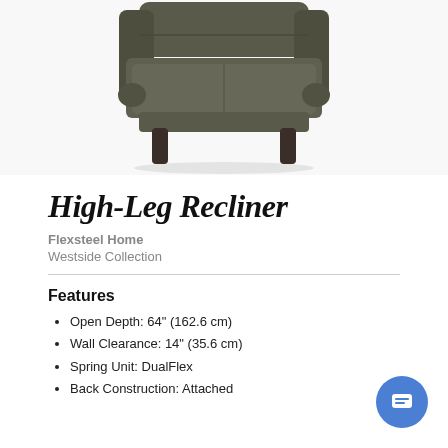[Figure (photo): Front view of a dark gray/olive upholstered high-leg recliner chair with tapered dark wood legs, shown from the front against a white background]
High-Leg Recliner
Flexsteel Home
Westside Collection
Features
Open Depth: 64" (162.6 cm)
Wall Clearance: 14" (35.6 cm)
Spring Unit: DualFlex
Back Construction: Attached